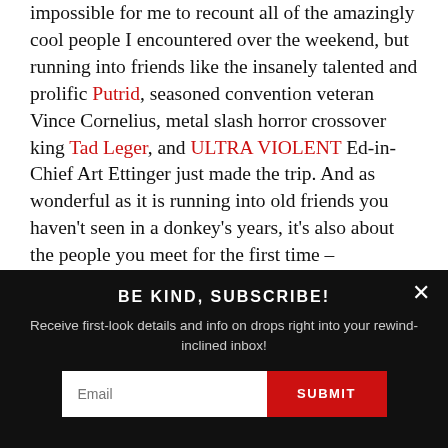impossible for me to recount all of the amazingly cool people I encountered over the weekend, but running into friends like the insanely talented and prolific Putrid, seasoned convention veteran Vince Cornelius, metal slash horror crossover king Tad Leger, and ULTRA VIOLENT Ed-in-Chief Art Ettinger just made the trip. And as wonderful as it is running into old friends you haven't seen in a donkey's years, it's also about the people you meet for the first time – connecting with likeminded individuals and nerding out. I had the pleasure of hanging out with previously-internet-only friend Tony Salamone (that's pronounced SAL-UH-MO-NEE!), the dudes from ACID WITCH who were total sweethearts and knew how to party, and I finally got to
BE KIND, SUBSCRIBE!
Receive first-look details and info on drops right into your rewind-inclined inbox!